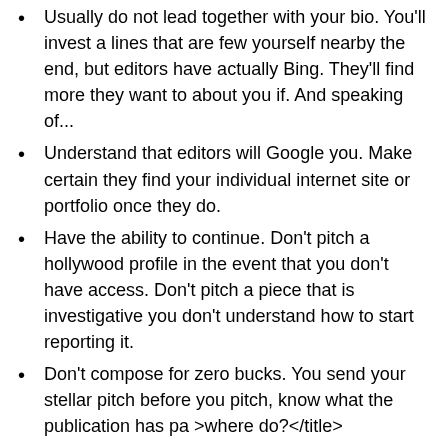Usually do not lead together with your bio. You'll invest a lines that are few yourself nearby the end, but editors have actually Bing. They'll find more they want to about you if. And speaking of...
Understand that editors will Google you. Make certain they find your individual internet site or portfolio once they do.
Have the ability to continue. Don't pitch a hollywood profile in the event that you don't have access. Don't pitch a piece that is investigative you don't understand how to start reporting it.
Don't compose for zero bucks. You send your stellar pitch before you pitch, know what the publication has pa >where do?</title>
*NOTE: Please do your very own homework before pitching some of these editors! Most of these